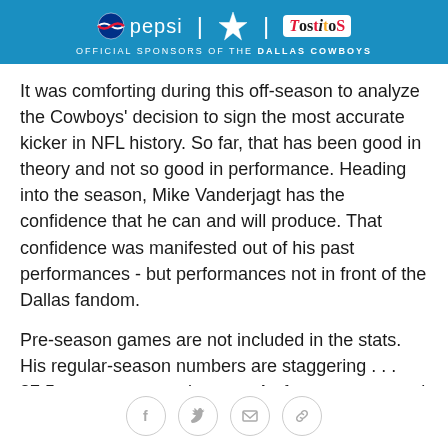[Figure (logo): Pepsi and Tostitos sponsors banner for the Dallas Cowboys on a blue background]
It was comforting during this off-season to analyze the Cowboys' decision to sign the most accurate kicker in NFL history. So far, that has been good in theory and not so good in performance. Heading into the season, Mike Vanderjagt has the confidence that he can and will produce. That confidence was manifested out of his past performances - but performances not in front of the Dallas fandom.
Pre-season games are not included in the stats. His regular-season numbers are staggering . . . 87.5 percent conversion rate. As fans, we can read this and hope, but because he has not shown us first hand, human nature forces us to question. We only remember
Social share icons: Facebook, Twitter, Email, Link